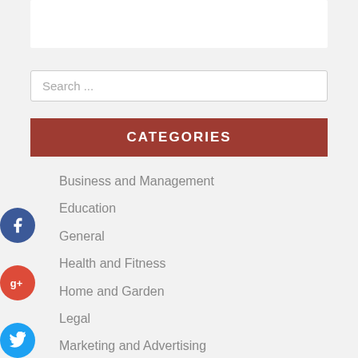[Figure (screenshot): White box at top of page, partial UI element]
Search ...
CATEGORIES
Business and Management
Education
General
Health and Fitness
Home and Garden
Legal
Marketing and Advertising
Pets
Technology and Gadgets